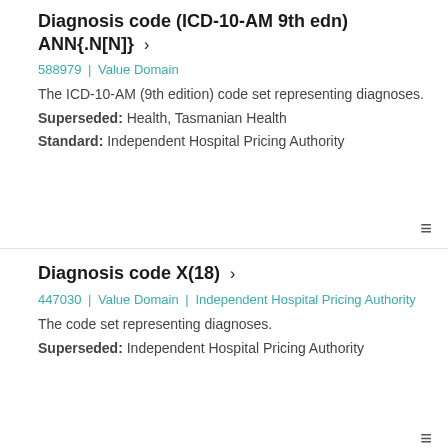Diagnosis code (ICD-10-AM 9th edn) ANN{.N[N]} >
588979 | Value Domain
The ICD-10-AM (9th edition) code set representing diagnoses.
Superseded: Health, Tasmanian Health
Standard: Independent Hospital Pricing Authority
Diagnosis code X(18) >
447030 | Value Domain | Independent Hospital Pricing Authority
The code set representing diagnoses.
Superseded: Independent Hospital Pricing Authority